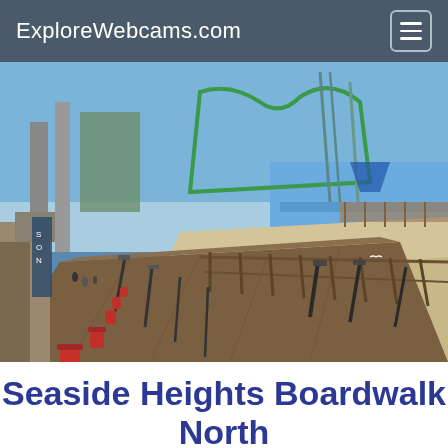ExploreWebcams.com
[Figure (photo): Webcam photo of Seaside Heights Boardwalk looking north along a wide wooden boardwalk. Amusement park rides and a pier with roller coasters are visible to the left and center, sandy beach to the right, and the Atlantic Ocean in the background under a blue sky.]
Seaside Heights Boardwalk North